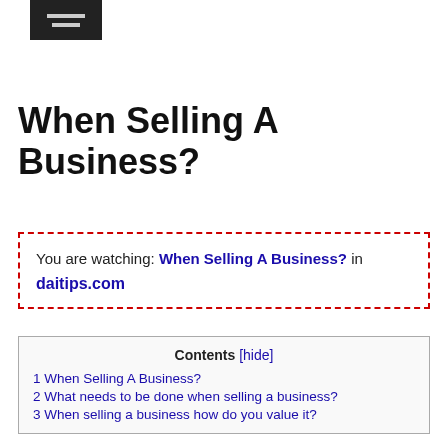[Figure (logo): Dark rectangular logo with two horizontal lines inside, resembling a menu/hamburger icon or brand mark]
When Selling A Business?
You are watching: When Selling A Business? in daitips.com
Contents [hide]
1 When Selling A Business?
2 What needs to be done when selling a business?
3 When selling a business how do you value it?